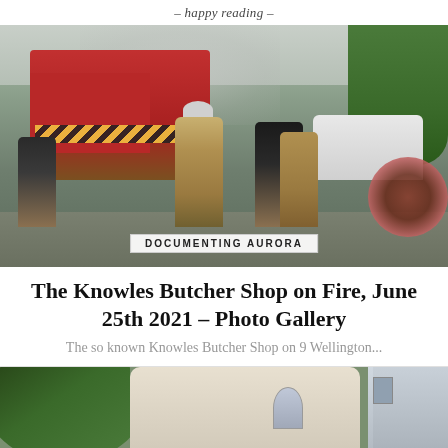- happy reading -
[Figure (photo): Firefighters in full gear responding to a fire scene on a city street. A red fire truck with yellow chevrons is visible on the left. Multiple firefighters in tan and dark uniforms stand in the street. A white SUV is visible on the right. Trees and smoke are in the background. An overlay label reads 'DOCUMENTING AURORA'.]
DOCUMENTING AURORA
The Knowles Butcher Shop on Fire, June 25th 2021 – Photo Gallery
The so known Knowles Butcher Shop on 9 Wellington...
[Figure (photo): Outdoor daytime photo showing a historic building with arched windows partially obscured by large leafy trees. Another multi-story building is visible to the right.]